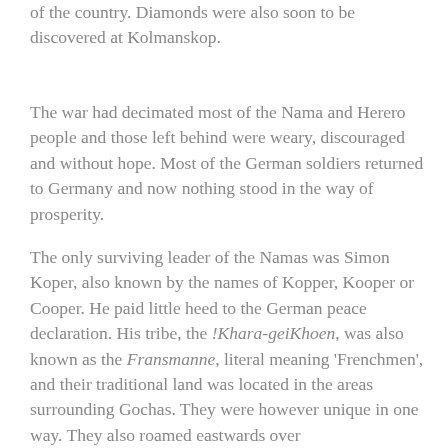of the country. Diamonds were also soon to be discovered at Kolmanskop.
The war had decimated most of the Nama and Herero people and those left behind were weary, discouraged and without hope. Most of the German soldiers returned to Germany and now nothing stood in the way of prosperity.
The only surviving leader of the Namas was Simon Koper, also known by the names of Kopper, Kooper or Cooper. He paid little heed to the German peace declaration. His tribe, the !Khara-geiKhoen, was also known as the Fransmanne, literal meaning 'Frenchmen', and their traditional land was located in the areas surrounding Gochas. They were however unique in one way. They also roamed eastwards over